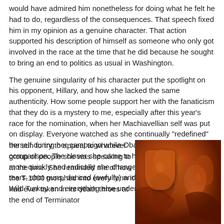would have admired him nonetheless for doing what he felt he had to do, regardless of the consequences. That speech fixed him in my opinion as a genuine character. That action supported his description of himself as someone who only got involved in the race at the time that he did because he sought to bring an end to politics as usual in Washington.
The genuine singularity of his character put the spotlight on his opponent, Hillary, and how she lacked the same authenticity. How some people support her with the fanaticism that they do is a mystery to me, especially after this year's race for the nomination, when her Machiavellian self was put on display. Everyone watched as she continually "redefined" herself during her campaign while Obama remained a rock in comparison. The closer she came to her inevitable defeat, the more quickly and radically she changed herself. Hillary shed tears, shot guns, danced (awfully) and threw back shots of Wild Turkey and everything else under the sun to try to appeal to whatever group of people she was speaking to at the time. She reminded me of how the T-1000 morphed into every form it had ever taken in its death throes at the end of Terminator
[Figure (photo): A reddish-orange toned photograph, appears to be an artistic or dramatic image with warm amber and burnt orange hues, possibly depicting a figure or cinematic scene]